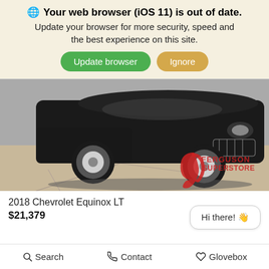🌐 Your web browser (iOS 11) is out of date. Update your browser for more security, speed and the best experience on this site. [Update browser] [Ignore]
[Figure (photo): Photo of a black 2018 Chevrolet Equinox SUV parked in a lot, with Ferguson Superstore logo watermark in the lower right corner.]
2018 Chevrolet Equinox LT
$21,379
Hi there! 👋
[Figure (photo): Partial photo of what appears to be a parking lot or outdoor area with light poles visible against a cloudy sky.]
Search   Contact   Glovebox